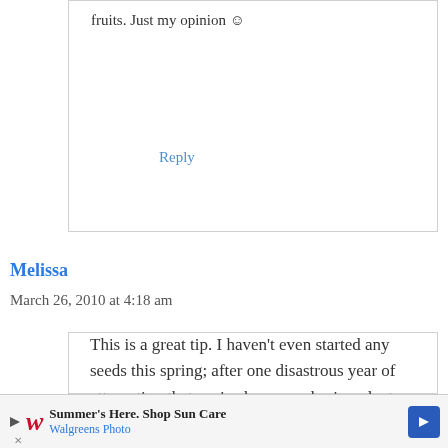fruits. Just my opinion ☺
Reply
Melissa
March 26, 2010 at 4:18 am
This is a great tip. I haven't even started any seeds this spring; after one disastrous year of attempting that, we've been purchasing plants
[Figure (other): Walgreens Photo advertisement banner: 'Summer's Here. Shop Sun Care' with Walgreens logo and blue arrow icon]